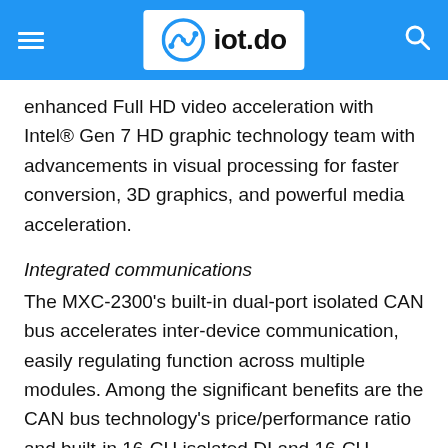iot.do
enhanced Full HD video acceleration with Intel® Gen 7 HD graphic technology team with advancements in visual processing for faster conversion, 3D graphics, and powerful media acceleration.
Integrated communications
The MXC-2300's built-in dual-port isolated CAN bus accelerates inter-device communication, easily regulating function across multiple modules. Among the significant benefits are the CAN bus technology's price/performance ratio and built-in 16-CH isolated DI and 16-CH isolated DO